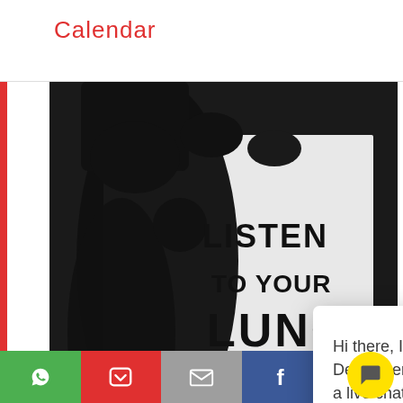Calendar
[Figure (photo): Black and white photo showing a poster with text 'LISTEN TO YOUR LUNGS' with artistic illustration]
Thai Health Promotion Bo... with ink made from smoker...
Q2 2015 saw the Thai Health Pro... From The Lungs: an anti-toba... with ink made from smokers' donated lungs. The nonprofit worked with Chulalongkorn University's Faculty of Medicine to extract tar from smokers' lungs and turn it into ink. Posters were printed with the resulting ink a...
Hi there, I'm Giulia, Business Developer, and available for a live chat. Ask me anything about our custom services or trend platform. (And yes, I'm a real person ☺)